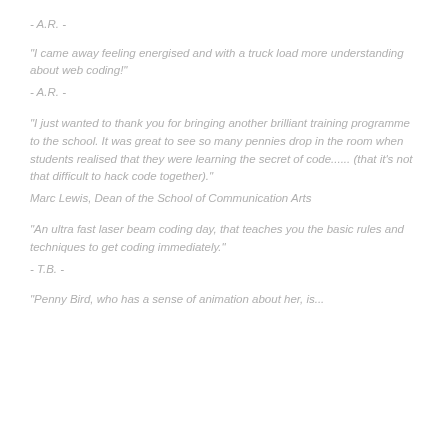- A.R. -
"I came away feeling energised and with a truck load more understanding about web coding!"
- A.R. -
"I just wanted to thank you for bringing another brilliant training programme to the school. It was great to see so many pennies drop in the room when students realised that they were learning the secret of code...... (that it's not that difficult to hack code together)."
Marc Lewis, Dean of the School of Communication Arts
"An ultra fast laser beam coding day, that teaches you the basic rules and techniques to get coding immediately."
- T.B. -
"Penny Bird, who has a sense of animation about her, is...